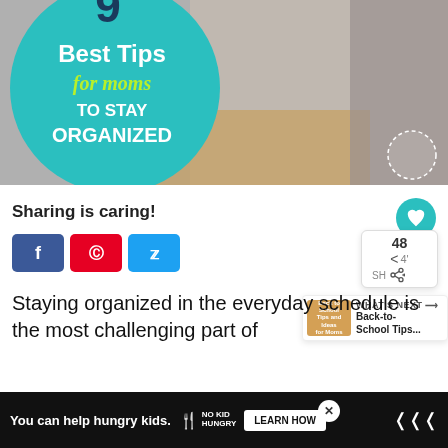[Figure (photo): Blog post header image showing a woman holding a baby next to a laptop, with a teal circle overlay reading '9 Best Tips for moms TO STAY ORGANIZED']
Sharing is caring!
Staying organized in the everyday schedule is the most challenging part of being a full-time
[Figure (infographic): Advertisement bar reading 'You can help hungry kids.' with No Kid Hungry logo and 'LEARN HOW' button]
WHAT'S NEXT → Back-to-School Tips...